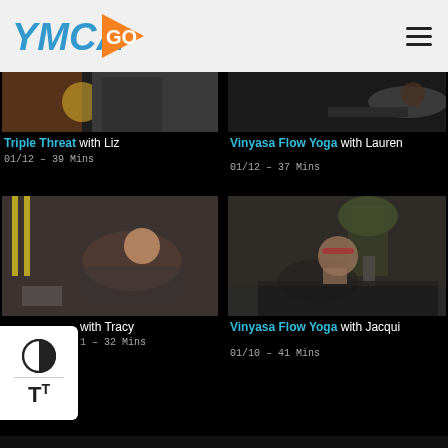[Figure (screenshot): YMCA GO app logo with orange play button triangle and blue YMCA text]
[Figure (photo): Partial thumbnail of fitness class - Triple Threat with Liz]
Triple Threat with Liz
01/12 – 39 Mins
[Figure (photo): Partial thumbnail of yoga class - Vinyasa Flow Yoga with Lauren]
Vinyasa Flow Yoga with Lauren
01/12 – 37 Mins
[Figure (photo): Woman doing fitness exercise - with Tracy]
with Tracy
1 – 32 Mins
[Figure (photo): Woman in yoga pose - Vinyasa Flow Yoga with Jacqui]
Vinyasa Flow Yoga with Jacqui
01/10 – 41 Mins